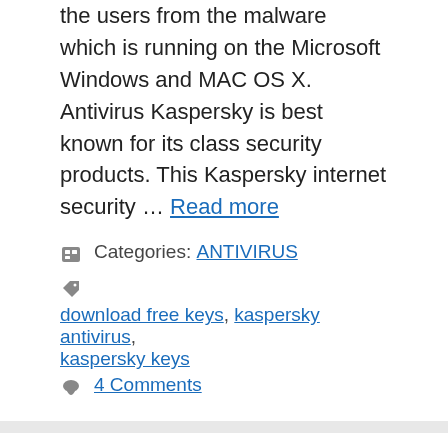the users from the malware which is running on the Microsoft Windows and MAC OS X. Antivirus Kaspersky is best known for its class security products. This Kaspersky internet security … Read more
Categories: ANTIVIRUS
Tags: download free keys, kaspersky antivirus, kaspersky keys
4 Comments
Is Vimm's Lair Safe Or Not? Is It A Virus?